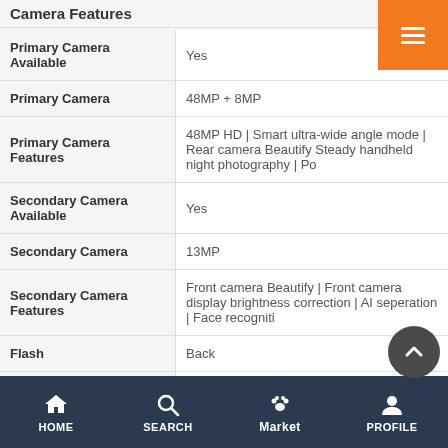Camera Features
| Feature | Value |
| --- | --- |
| Primary Camera Available | Yes |
| Primary Camera | 48MP + 8MP |
| Primary Camera Features | 48MP HD | Smart ultra-wide angle mode | Rear camera Beautify Steady handheld night photography | Po |
| Secondary Camera Available | Yes |
| Secondary Camera | 13MP |
| Secondary Camera Features | Front camera Beautify | Front camera display brightness correction | AI seperation | Face recogniti |
| Flash | Back |
| HD Recording | Yes |
| Full HD Recording | Yes |
| Video Recording | Yes |
| Dual Camera Lens | Primary Camera |